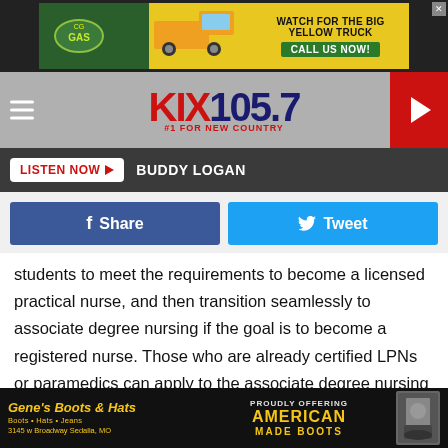[Figure (screenshot): Top advertisement banner with green truck and yellow background. Shows 'WATCH FOR THE BIG YELLOW TRUCK' and 'CALL US NOW!' text.]
[Figure (logo): KIX 105.7 radio station logo with red KIX text and dark blue 105.7 numerals. Tagline: #1 FOR NEW COUNTRY]
LISTEN NOW ▶   BUDDY LOGAN
Share   Tweet
students to meet the requirements to become a licensed practical nurse, and then transition seamlessly to associate degree nursing if the goal is to become a registered nurse. Those who are already certified LPNs or paramedics can apply to the associate degree nursing program.
SFCC's Nursing programs are approved by the Missouri State Board of Nursing (MSBN). At the completion of Year One,
[Figure (screenshot): Bottom advertisement for Gene's Boots & Hats. Shows store name, 'Proudly Offering American Made Boots', address: 3145 w Broadway Sedalia, MO]